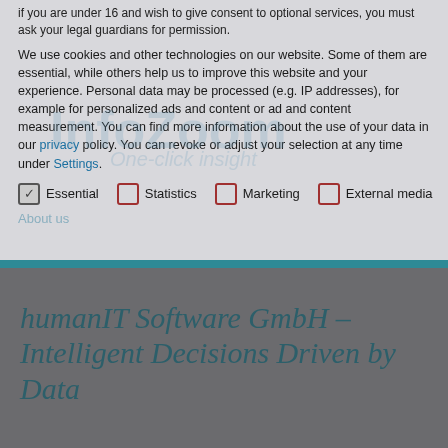if you are under 16 and wish to give consent to optional services, you must ask your legal guardians for permission.
We use cookies and other technologies on our website. Some of them are essential, while others help us to improve this website and your experience. Personal data may be processed (e.g. IP addresses), for example for personalized ads and content or ad and content measurement. You can find more information about the use of your data in our privacy policy. You can revoke or adjust your selection at any time under Settings.
✓ Essential
☐ Statistics
☐ Marketing
☐ External media
About us
humanIT Software GmbH – Intelligent Decisions Driven by Data